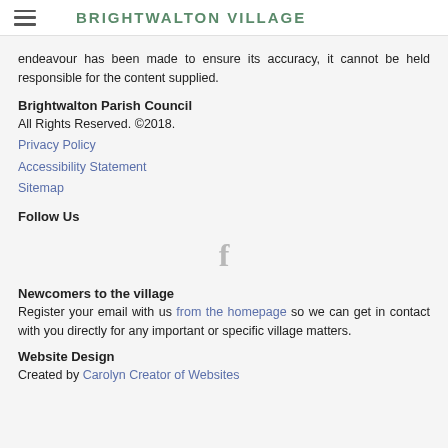BRIGHTWALTON VILLAGE
endeavour has been made to ensure its accuracy, it cannot be held responsible for the content supplied.
Brightwalton Parish Council
All Rights Reserved. ©2018.
Privacy Policy
Accessibility Statement
Sitemap
Follow Us
[Figure (illustration): Facebook icon (letter f) in grey]
Newcomers to the village
Register your email with us from the homepage so we can get in contact with you directly for any important or specific village matters.
Website Design
Created by Carolyn Creator of Websites